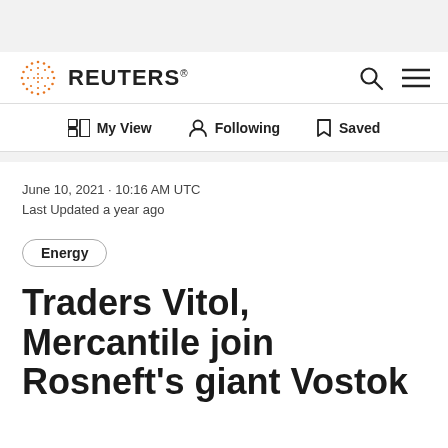[Figure (logo): Reuters logo with orange dot-matrix globe and REUTERS wordmark]
My View | Following | Saved
June 10, 2021 · 10:16 AM UTC
Last Updated a year ago
Energy
Traders Vitol, Mercantile join Rosneft's giant Vostok